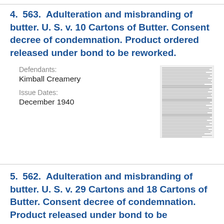4. 563. Adulteration and misbranding of butter. U. S. v. 10 Cartons of Butter. Consent decree of condemnation. Product ordered released under bond to be reworked.
Defendants: Kimball Creamery
Issue Dates: December 1940
[Figure (other): Thumbnail image of a document page with dense small text]
5. 562. Adulteration and misbranding of butter. U. S. v. 29 Cartons and 18 Cartons of Butter. Consent decree of condemnation. Product released under bond to be reworked.